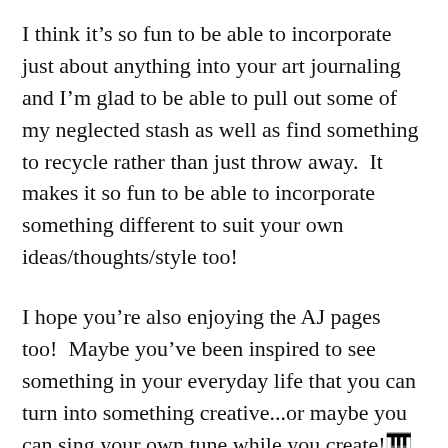I think it's so fun to be able to incorporate just about anything into your art journaling and I'm glad to be able to pull out some of my neglected stash as well as find something to recycle rather than just throw away.  It makes it so fun to be able to incorporate something different to suit your own ideas/thoughts/style too!
I hope you're also enjoying the AJ pages too!  Maybe you've been inspired to see something in your everyday life that you can turn into something creative...or maybe you can sing your own tune while you create!🎹